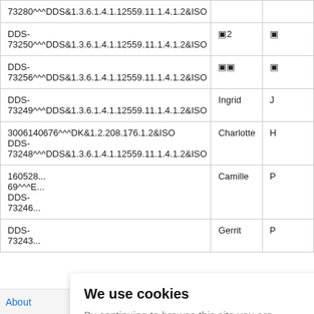| ID | First Name | Last Name |
| --- | --- | --- |
| 73280^^^DDS&1.3.6.1.4.1.12559.11.1.4.1.2&ISO |  |  |
| DDS-73250^^^DDS&1.3.6.1.4.1.12559.11.1.4.1.2&ISO | ▣2 | ▣ |
| DDS-73256^^^DDS&1.3.6.1.4.1.12559.11.1.4.1.2&ISO | ▣▣ | ▣ |
| DDS-73249^^^DDS&1.3.6.1.4.1.12559.11.1.4.1.2&ISO | Ingrid | J |
| 3006140676^^^DK&1.2.208.176.1.2&ISO
DDS-73248^^^DDS&1.3.6.1.4.1.12559.11.1.4.1.2&ISO | Charlotte | H |
| 160528...
69^^^E...
DDS-73246... | Camille | P |
| DDS-73243... | Gerrit | P |
We use cookies
By continuing to browse this site you are agreeing to our use of cookies
Ok
About   Back to top   E